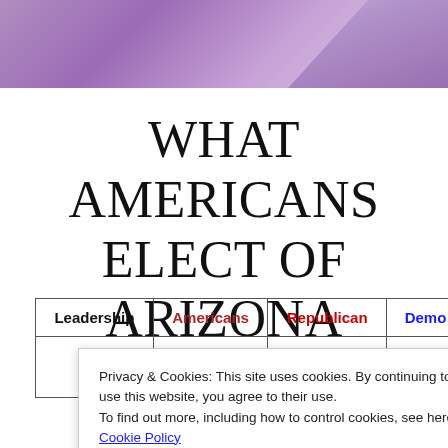[Figure (photo): Purple/violet decorative banner header with feather or abstract element in upper right]
WHAT AMERICANS ELECT OF ARIZONA OFFERS
| Leadership | Americans | Republican | Demo... |
| --- | --- | --- | --- |
|  |  |  |  |
Privacy & Cookies: This site uses cookies. By continuing to use this website, you agree to their use.
To find out more, including how to control cookies, see here: Cookie Policy
Close and accept